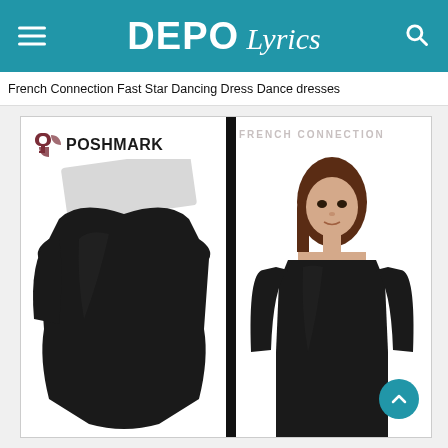DEPO Lyrics
French Connection Fast Star Dancing Dress Dance dresses
[Figure (screenshot): Collage of two product images: left shows a Poshmark listing of a black off-shoulder long-sleeve bodycon dress on white background, right shows a French Connection model wearing a black cold-shoulder 3/4 sleeve bodycon dress]